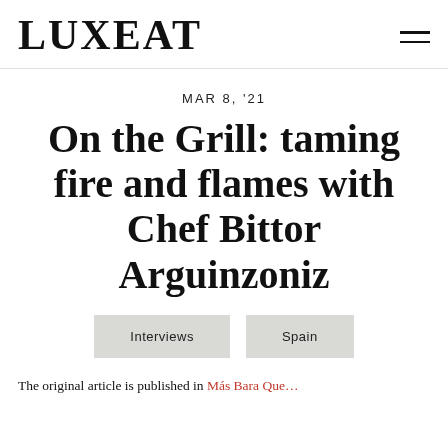LUXEAT
MAR 8, '21
On the Grill: taming fire and flames with Chef Bittor Arguinzoniz
Interviews
Spain
The original article is published in Más Bara Que…